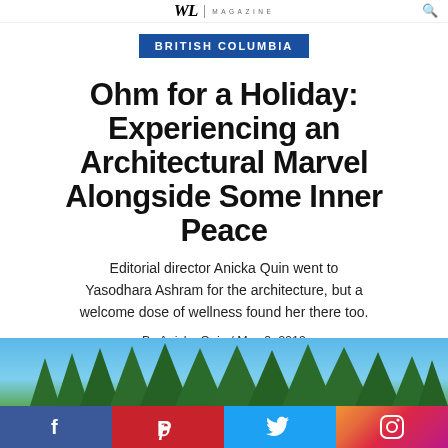WL MAGAZINE
BRITISH COLUMBIA
Ohm for a Holiday: Experiencing an Architectural Marvel Alongside Some Inner Peace
Editorial director Anicka Quin went to Yasodhara Ashram for the architecture, but a welcome dose of wellness found her there too.
By Anicka Quin / May 9, 2019
[Figure (photo): Landscape photo showing tall evergreen pine trees against a blue sky]
[Figure (infographic): Social media share bar with Facebook, Pinterest, Twitter, and Instagram icons]